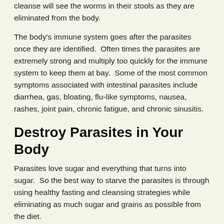cleanse will see the worms in their stools as they are eliminated from the body.
The body's immune system goes after the parasites once they are identified.  Often times the parasites are extremely strong and multiply too quickly for the immune system to keep them at bay.  Some of the most common symptoms associated with intestinal parasites include diarrhea, gas, bloating, flu-like symptoms, nausea, rashes, joint pain, chronic fatigue, and chronic sinusitis.
Destroy Parasites in Your Body
Parasites love sugar and everything that turns into sugar.  So the best way to starve the parasites is through using healthy fasting and cleansing strategies while eliminating as much sugar and grains as possible from the diet.
Several herbs and foods act as very strong anti-parasitic agents.  Extra-virgin coconut oil is loaded with medium chain